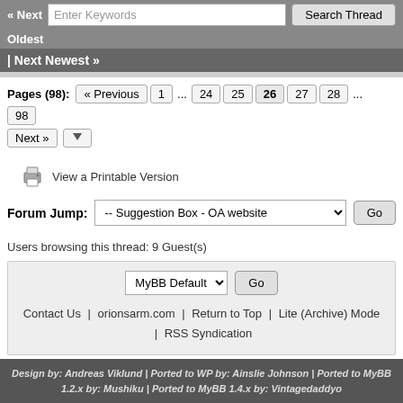« Next | Enter Keywords | Search Thread
Oldest
| Next Newest »
Pages (98): « Previous 1 ... 24 25 26 27 28 ... 98
Next »
View a Printable Version
Forum Jump:  -- Suggestion Box - OA website  Go
Users browsing this thread: 9 Guest(s)
MyBB Default  Go
Contact Us | orionsarm.com | Return to Top | Lite (Archive) Mode | RSS Syndication
Powered By MyBB, © 2002-2022 MyBB Group.
Design by: Andreas Viklund | Ported to WP by: Ainslie Johnson | Ported to MyBB 1.2.x by: Mushiku | Ported to MyBB 1.4.x by: Vintagedaddyo